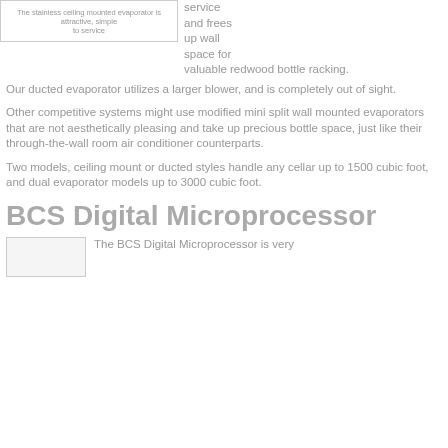[Figure (photo): Stainless ceiling mounted evaporator image]
The stainless ceiling mounted evaporator is attractive, simple to service
service and frees up wall space for valuable redwood bottle racking.
Our ducted evaporator utilizes a larger blower, and is completely out of sight.
Other competitive systems might use modified mini split wall mounted evaporators that are not aesthetically pleasing and take up precious bottle space, just like their through-the-wall room air conditioner counterparts.
Two models, ceiling mount or ducted styles handle any cellar up to 1500 cubic foot, and dual evaporator models up to 3000 cubic foot.
BCS Digital Microprocessor
[Figure (photo): BCS Digital Microprocessor image]
The BCS Digital Microprocessor is very